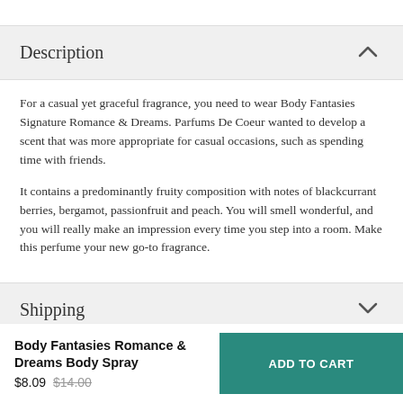Description
For a casual yet graceful fragrance, you need to wear Body Fantasies Signature Romance & Dreams. Parfums De Coeur wanted to develop a scent that was more appropriate for casual occasions, such as spending time with friends.
It contains a predominantly fruity composition with notes of blackcurrant berries, bergamot, passionfruit and peach. You will smell wonderful, and you will really make an impression every time you step into a room. Make this perfume your new go-to fragrance.
Shipping
Body Fantasies Romance & Dreams Body Spray
$8.09 $14.00